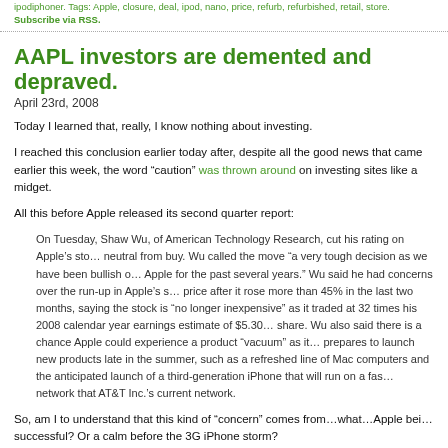ipodiphoner. Tags: Apple, closure, deal, ipod, nano, price, refurb, refurbished, retail, store. Subscribe via RSS.
AAPL investors are demented and depraved.
April 23rd, 2008
Today I learned that, really, I know nothing about investing.
I reached this conclusion earlier today after, despite all the good news that came earlier this week, the word “caution” was thrown around on investing sites like a midget.
All this before Apple released its second quarter report:
On Tuesday, Shaw Wu, of American Technology Research, cut his rating on Apple’s stock neutral from buy. Wu called the move “a very tough decision as we have been bullish on Apple for the past several years.” Wu said he had concerns over the run-up in Apple’s stock price after it rose more than 45% in the last two months, saying the stock is “no longer inexpensive” as it traded at 32 times his 2008 calendar year earnings estimate of $5.30 a share. Wu also said there is a chance Apple could experience a product “vacuum” as it prepares to launch new products late in the summer, such as a refreshed line of Mac computers and the anticipated launch of a third-generation iPhone that will run on a faster network that AT&T Inc.’s current network.
So, am I to understand that this kind of “concern” comes from…what…Apple being too successful? Or a calm before the 3G iPhone storm?